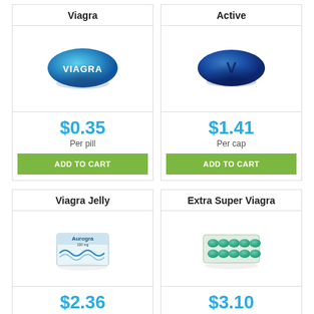Viagra
[Figure (illustration): Blue oval Viagra pill with VIAGRA text]
$0.35
Per pill
ADD TO CART
Super Active
[Figure (illustration): Dark blue oval pill with V letter]
$1.41
Per cap
ADD TO CART
Viagra Jelly
[Figure (illustration): Aurogra medicine box/sachet packet]
$2.36
Per pill
ADD TO CART
Extra Super Viagra
[Figure (illustration): Blister pack of teal/green pills]
$3.10
Per pill
ADD TO CART